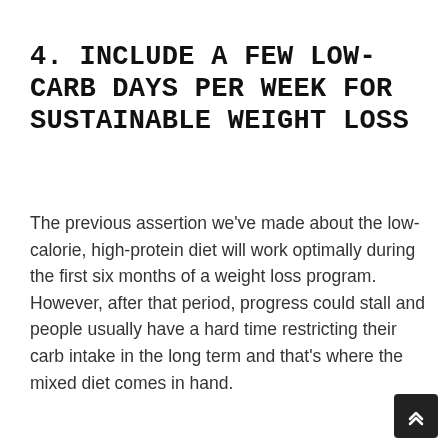4. INCLUDE A FEW LOW-CARB DAYS PER WEEK FOR SUSTAINABLE WEIGHT LOSS
The previous assertion we've made about the low-calorie, high-protein diet will work optimally during the first six months of a weight loss program. However, after that period, progress could stall and people usually have a hard time restricting their carb intake in the long term and that's where the mixed diet comes in hand.